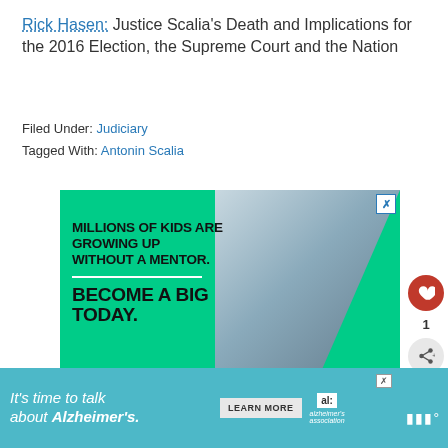Rick Hasen: Justice Scalia's Death and Implications for the 2016 Election, the Supreme Court and the Nation
Filed Under: Judiciary
Tagged With: Antonin Scalia
[Figure (infographic): Advertisement for Big Brothers Big Sisters mentoring program on green background with photo of adult and child. Text reads: MILLIONS OF KIDS ARE GROWING UP WITHOUT A MENTOR. BECOME A BIG TODAY. Learn How button.]
[Figure (infographic): Advertisement banner: It's time to talk about Alzheimer's. Learn More button. Alzheimer's Association logo.]